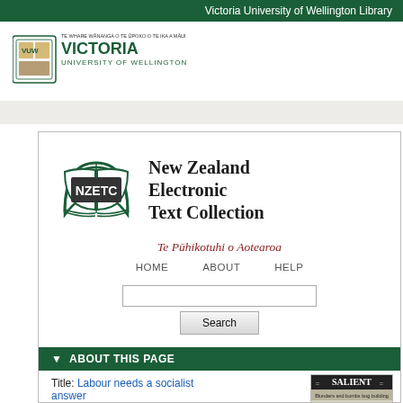Victoria University of Wellington Library
[Figure (logo): Victoria University of Wellington crest and wordmark logo]
[Figure (logo): New Zealand Electronic Text Collection (NZETC) logo with book icon]
New Zealand Electronic Text Collection
Te Pūhikotuhi o Aotearoa
HOME    ABOUT    HELP
▼  ABOUT THIS PAGE
Title: Labour needs a socialist answer
Author: Nevil Gibson
[Figure (photo): Thumbnail of SALIENT magazine cover showing 'Blunders and bombs bug building']